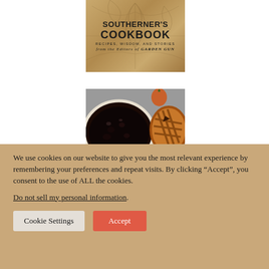[Figure (photo): Book cover of 'The Southerner's Cookbook: Recipes, Wisdom, and Stories' from the editors of Garden Gun, showing a tan/gold background with botanical illustrations and bold black text.]
[Figure (photo): Photo of two pies from above on a gray surface: a dark berry/pecan pie in a white dish on the left, and a lattice-topped apple or fruit pie in a dark pan on the right, with an apple visible in the upper right.]
We use cookies on our website to give you the most relevant experience by remembering your preferences and repeat visits. By clicking “Accept”, you consent to the use of ALL the cookies.
Do not sell my personal information.